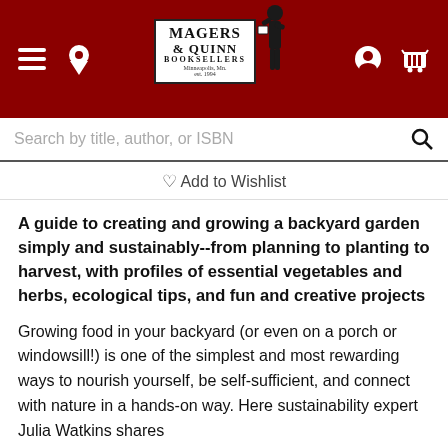[Figure (logo): Magers & Quinn Booksellers logo with a colonial figure, on a dark red navigation header with hamburger menu, location pin, user icon, and cart icon]
Search by title, author, or ISBN
♡ Add to Wishlist
A guide to creating and growing a backyard garden simply and sustainably--from planning to planting to harvest, with profiles of essential vegetables and herbs, ecological tips, and fun and creative projects
Growing food in your backyard (or even on a porch or windowsill!) is one of the simplest and most rewarding ways to nourish yourself, be self-sufficient, and connect with nature in a hands-on way. Here sustainability expert Julia Watkins shares